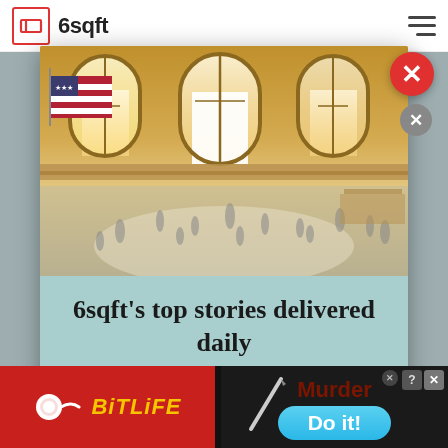6sqft
[Figure (screenshot): Modal popup on 6sqft website showing Grand Central Terminal interior photo with email newsletter signup: '6sqft's top stories delivered daily' and email input field. Bottom of screen shows BitLife game advertisement with 'Murder Do it!' text.]
6sqft's top stories delivered daily
Your email address